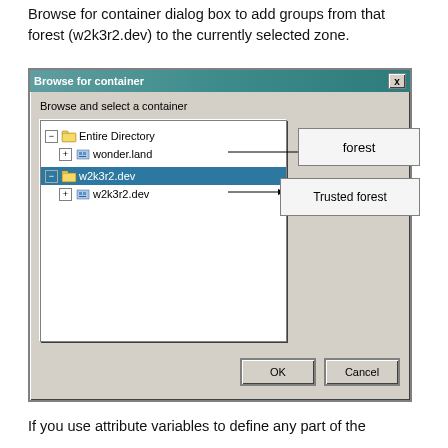Browse for container dialog box to add groups from that forest (w2k3r2.dev) to the currently selected zone.
[Figure (screenshot): Windows 'Browse for container' dialog box showing a directory tree with 'Entire Directory' root containing 'wonder.land' and 'w2k3r2.dev' (selected/highlighted) nodes. Callout labels point to 'forest' and 'Trusted forest'. OK and Cancel buttons at the bottom.]
If you use attribute variables to define any part of the